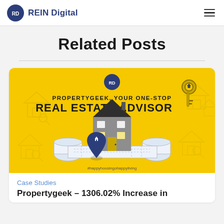REIN Digital
Related Posts
[Figure (illustration): Yellow banner advertisement for PropertyGeek real estate advisor, showing a house model on blueprints, a location pin icon, and keys, with text 'PROPERTYGEEK, YOUR ONE-STOP REAL ESTATE ADVISOR' and hashtag '#happyhousingohappyliving']
Case Studies
Propertygeek – 1306.02% Increase in